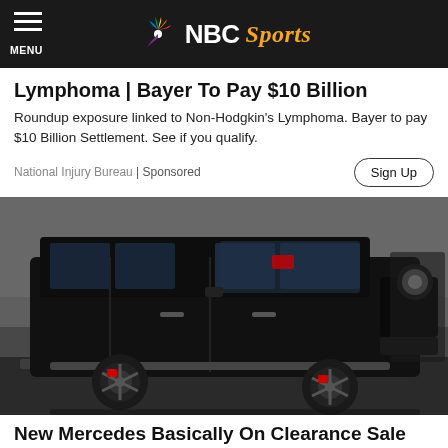NBC Sports
Lymphoma | Bayer To Pay $10 Billion
Roundup exposure linked to Non-Hodgkin's Lymphoma. Bayer to pay $10 Billion Settlement. See if you qualify.
National Injury Bureau | Sponsored
[Figure (photo): Black Mercedes-Benz G-Class SUV parked in a showroom or garage, front three-quarter view showing large chrome wheels with red brake calipers.]
New Mercedes Basically On Clearance Sale